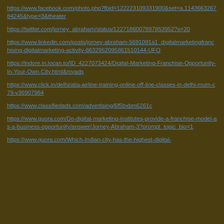https://www.facebook.com/photo.php?fbid=12222310933190 0&set=a.114366326784245&type=3&theater
https://twitter.com/jorney_abraham/status/122718600789785395 27s=20
https://www.linkedin.com/posts/jorney-abraham-5691091a1_digitalmarketingfranchising-digitalmarketing-activity-6632952095861510144-UFO
https://indore.in.locan.to/ID_4227073424/Digital-Marketing-Franchise-Opportunity-In-Your-Own-City.html&myads
https://www.click.in/delhi/atia-airline-training-online-off-line-classes-in-delhi-mum-c79-v36907984
https://www.classifiedads.com/advertising/6f5bxbm6261c
https://www.quora.com/Do-digital-marketing-institutes-provide-a-franchise-model-as-a-business-opportunity/answer/Jorney-Abraham-3?prompt_topic_bio=1
https://www.quora.com/Which-Indian-city-has-the-highest-digital-